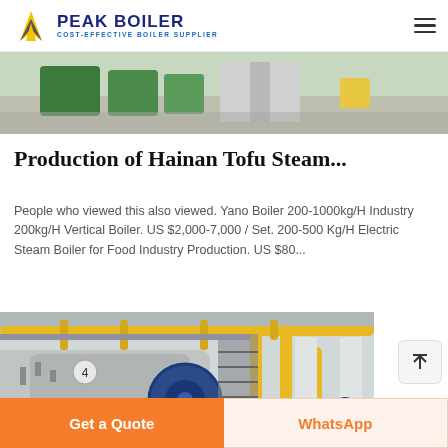PEAK BOILER — COST-EFFECTIVE BOILER SUPPLIER
[Figure (photo): Partial view of an outdoor industrial area with green equipment bins and concrete flooring]
Production of Hainan Tofu Steam...
People who viewed this also viewed. Yano Boiler 200-1000kg/H Industry 200kg/H Vertical Boiler. US $2,000-7,000 / Set. 200-500 Kg/H Electric Steam Boiler for Food Industry Production. US $80...
[Figure (photo): Industrial boiler room with large horizontal boiler vessels, yellow pipes, blue hose reel, and metal staircase]
Get a Quote
WhatsApp